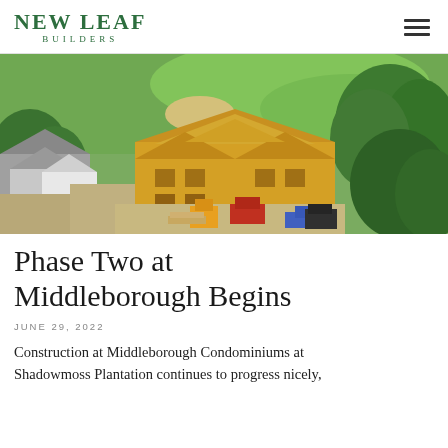NEW LEAF BUILDERS
[Figure (photo): Aerial drone photograph of a construction site showing a building under construction with plywood roof framing, surrounded by trees, adjacent to a golf course with green fairways and sand bunkers. Construction equipment and materials are visible on the ground.]
Phase Two at Middleborough Begins
JUNE 29, 2022
Construction at Middleborough Condominiums at Shadowmoss Plantation continues to progress nicely,